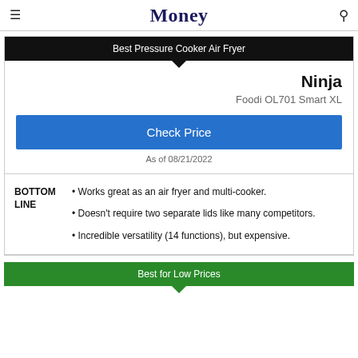Money
Best Pressure Cooker Air Fryer
Ninja
Foodi OL701 Smart XL
Check Price
As of 08/21/2022
BOTTOM LINE • Works great as an air fryer and multi-cooker. • Doesn't require two separate lids like many competitors. • Incredible versatility (14 functions), but expensive.
Best for Low Prices